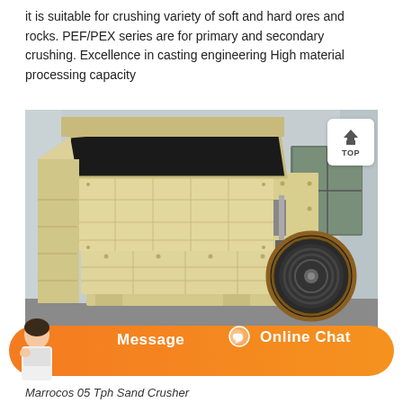it is suitable for crushing variety of soft and hard ores and rocks. PEF/PEX series are for primary and secondary crushing. Excellence in casting engineering High material processing capacity
[Figure (photo): Large industrial impact/jaw crusher machine with beige/cream-colored body, bolted steel frame, grid sections on the front, a large black flywheel/pulley on the right side, and a black hopper opening at the top. Machine is photographed outdoors in an industrial yard with a warehouse wall visible in the background. A 'TOP' badge button is visible in the top-right corner of the image.]
Message   Online Chat
Marrocos 05 Tph Sand Crusher